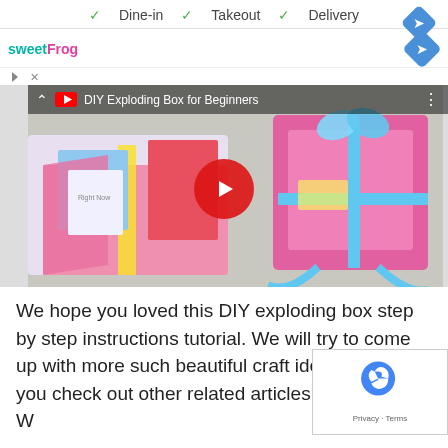✓ Dine-in  ✓ Takeout  ✓ Delivery
[Figure (screenshot): sweetFrog logo and navigation diamond icon ad bar]
[Figure (screenshot): YouTube video thumbnail for 'DIY Exploding Box for Beginners' showing colorful exploding gift box and a pink wrapped gift box, with red play button overlay]
We hope you loved this DIY exploding box step by step instructions tutorial. We will try to come up with more such beautiful craft ideas. Until then you check out other related articles on K4 Craft. W